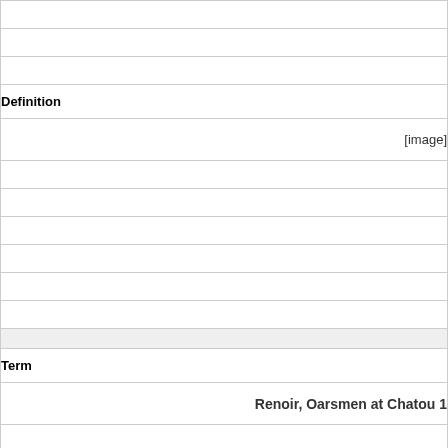| Definition | Term |
| --- | --- |
| [image] |  |
|  |  |
|  | Renoir, Oarsmen at Chatou 1 |